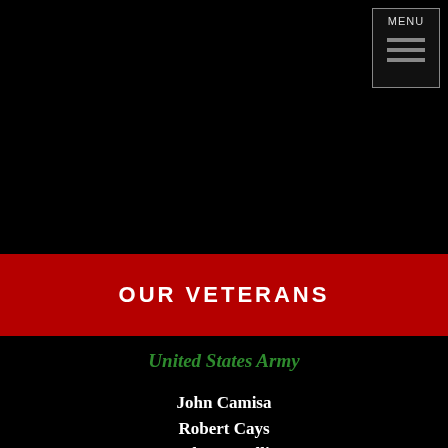MENU
OUR VETERANS
United States Army
John Camisa
Robert Cays
Robert P. Ellis
Brian Mulqueen
Albert E. Nordmark
Kenneth Strausser